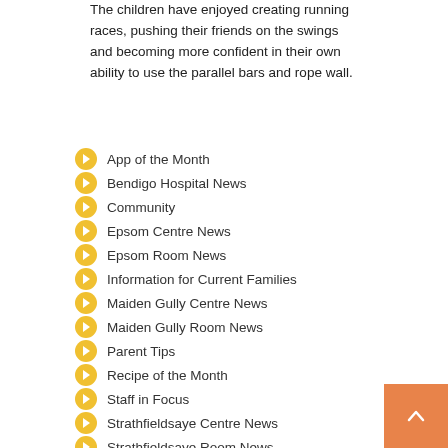The children have enjoyed creating running races, pushing their friends on the swings and becoming more confident in their own ability to use the parallel bars and rope wall.
App of the Month
Bendigo Hospital News
Community
Epsom Centre News
Epsom Room News
Information for Current Families
Maiden Gully Centre News
Maiden Gully Room News
Parent Tips
Recipe of the Month
Staff in Focus
Strathfieldsaye Centre News
Strathfieldsaye Room News